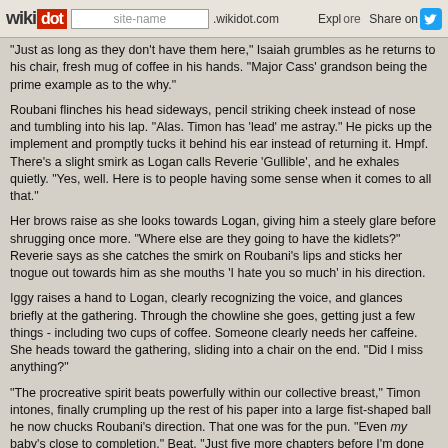wikidot  site-name .wikidot.com  Explore  Share on
"Just as long as they don't have them here," Isaiah grumbles as he returns to his chair, fresh mug of coffee in his hands. "Major Cass' grandson being the prime example as to the why."
Roubani flinches his head sideways, pencil striking cheek instead of nose and tumbling into his lap. "Alas. Timon has 'lead' me astray." He picks up the implement and promptly tucks it behind his ear instead of returning it. Hmpf. There's a slight smirk as Logan calls Reverie 'Gullible', and he exhales quietly. "Yes, well. Here is to people having some sense when it comes to all that."
Her brows raise as she looks towards Logan, giving him a steely glare before shrugging once more. "Where else are they going to have the kidlets?" Reverie says as she catches the smirk on Roubani's lips and sticks her tnogue out towards him as she mouths 'I hate you so much' in his direction.
Iggy raises a hand to Logan, clearly recognizing the voice, and glances briefly at the gathering. Through the chowline she goes, getting just a few things - including two cups of coffee. Someone clearly needs her caffeine. She heads toward the gathering, sliding into a chair on the end. "Did I miss anything?"
"The procreative spirit beats powerfully within our collective breast," Timon intones, finally crumpling up the rest of his paper into a large fist-shaped ball he now chucks Roubani's direction. That one was for the pun. "Even my baby's close to completion." Beat. "Just five more chapters before I'm done with draft one." Another beat. "Gullible? Isn't that too many syllables?" Ivory's eyes fix on the young girl's head.